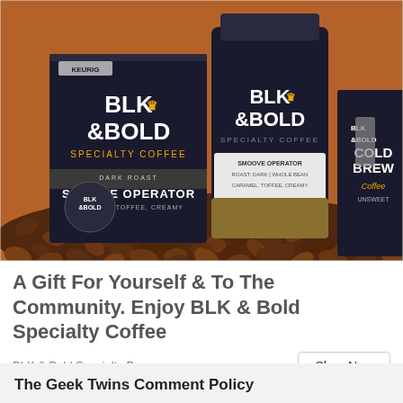[Figure (photo): BLK & Bold Specialty Coffee product photo showing K-cup box (Smoove Operator, Dark Roast, 20 count), a bag of whole bean coffee, and a Cold Brew coffee box, all on a pile of coffee beans against an orange-brown background.]
A Gift For Yourself & To The Community. Enjoy BLK & Bold Specialty Coffee
BLK & Bold Specialty Beverages
Shop Now
The Geek Twins Comment Policy